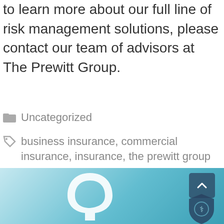to learn more about our full line of risk management solutions, please contact our team of advisors at The Prewitt Group.
Uncategorized
business insurance, commercial insurance, insurance, the prewitt group
January 13, 2020 by Lauren Sullivan
[Figure (photo): Light blue background with a white hook/question mark shape and a dark blue shield logo in the lower right corner with a scroll-to-top button]